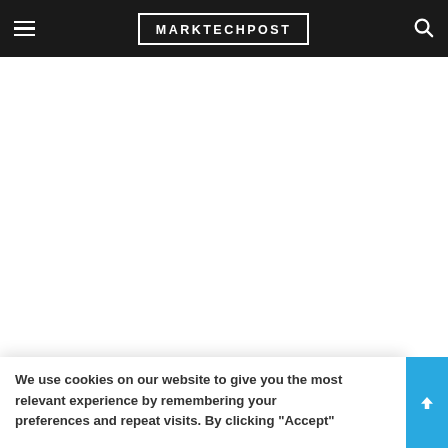MARKTECHPOST
We use cookies on our website to give you the most relevant experience by remembering your preferences and repeat visits. By clicking "Accept"...